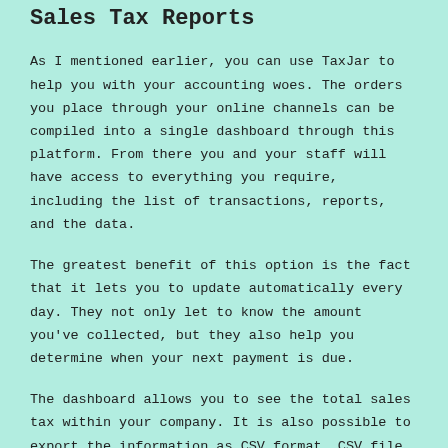Sales Tax Reports
As I mentioned earlier, you can use TaxJar to help you with your accounting woes. The orders you place through your online channels can be compiled into a single dashboard through this platform. From there you and your staff will have access to everything you require, including the list of transactions, reports, and the data.
The greatest benefit of this option is the fact that it lets you to update automatically every day. They not only let to know the amount you've collected, but they also help you determine when your next payment is due.
The dashboard allows you to see the total sales tax within your company. It is also possible to export the information as CSV format. CSV file in case you require it for your process of financial planning and accounting or if your team needs it for